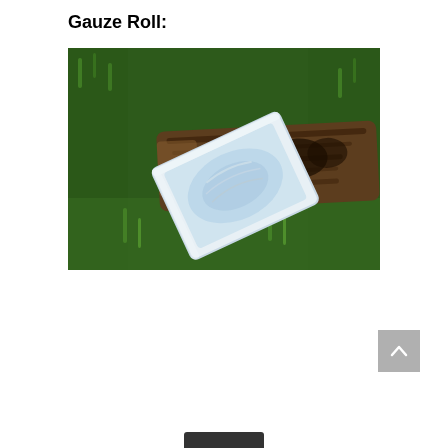Gauze Roll:
[Figure (photo): A sealed gauze roll in white/light blue packaging lying on green grass next to a weathered wooden log.]